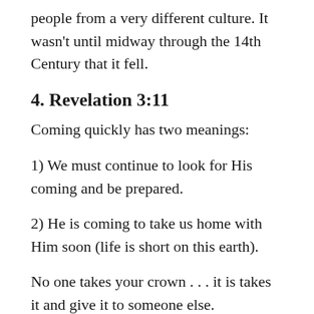people from a very different culture. It wasn't until midway through the 14th Century that it fell.
4. Revelation 3:11
Coming quickly has two meanings:
1) We must continue to look for His coming and be prepared.
2) He is coming to take us home with Him soon (life is short on this earth).
No one takes your crown . . . it is takes it and give it to someone else.
5. Revelation 3:12
Philadelphia was a city “full of earthquakes.” Shocks